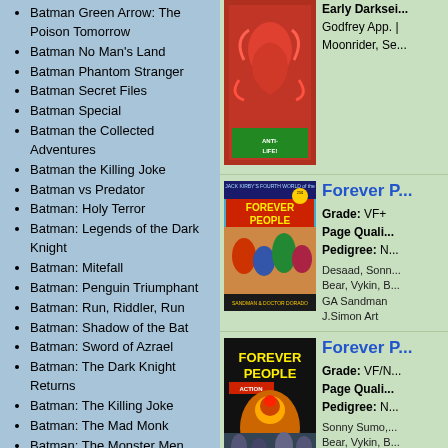Batman Green Arrow: The Poison Tomorrow
Batman No Man's Land
Batman Phantom Stranger
Batman Secret Files
Batman Special
Batman the Collected Adventures
Batman the Killing Joke
Batman vs Predator
Batman: Holy Terror
Batman: Legends of the Dark Knight
Batman: Mitefall
Batman: Penguin Triumphant
Batman: Run, Riddler, Run
Batman: Shadow of the Bat
Batman: Sword of Azrael
Batman: The Dark Knight Returns
Batman: The Killing Joke
Batman: The Mad Monk
Batman: The Monster Men
Battle Classics
Beowulf
Best of the Brave and the Bold
Binky
Black Condor
Black Lightning
Black Magic
Blackhawk
Blitzkrieg
Blue Beetle
[Figure (photo): Comic book cover - top partial, red figure, Anti-Life text visible]
Early Darksei... Godfrey App. Moonrider, Se...
[Figure (photo): Forever People comic book cover, Jack Kirby's Fourth World, showing colorful characters]
Forever P... Grade: VF+ Page Quali... Pedigree: N... Desaad, Sonn... Bear, Vykin, B... GA Sandman J.Simon Art
[Figure (photo): Forever People comic book cover showing dark background with yellow title and armored character]
Forever P... Grade: VF/N... Page Quali... Pedigree: N... Sonny Sumo,... Bear, Vykin, B... GA Sandman J.Simon Art